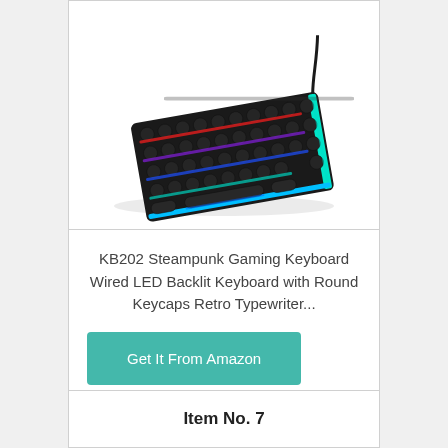[Figure (photo): A steampunk gaming keyboard with round keycaps and RGB LED backlighting in red, purple, blue, and teal colors. The keyboard is shown at an angle on a white background.]
KB202 Steampunk Gaming Keyboard Wired LED Backlit Keyboard with Round Keycaps Retro Typewriter...
Get It From Amazon
Item No. 7